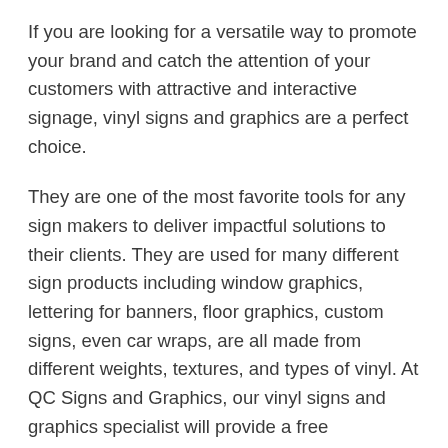If you are looking for a versatile way to promote your brand and catch the attention of your customers with attractive and interactive signage, vinyl signs and graphics are a perfect choice.
They are one of the most favorite tools for any sign makers to deliver impactful solutions to their clients. They are used for many different sign products including window graphics, lettering for banners, floor graphics, custom signs, even car wraps, are all made from different weights, textures, and types of vinyl. At QC Signs and Graphics, our vinyl signs and graphics specialist will provide a free consultation to assess your business requirements and study your brand elements in order to provide a perfect solution that helps in achieving your marketing goals.